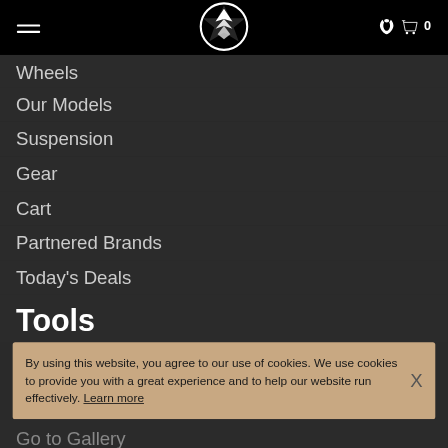Navigation header with hamburger menu, logo, phone icon, and cart (0)
Wheels
Our Models
Suspension
Gear
Cart
Partnered Brands
Today's Deals
Tools
By using this website, you agree to our use of cookies. We use cookies to provide you with a great experience and to help our website run effectively. Learn more
Go to Gallery
Add To Cart
SORT | FITMENT INFO | FILTERS